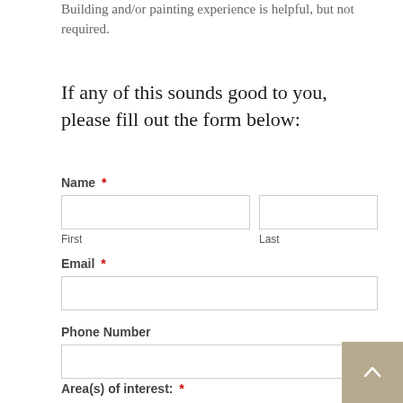Building and/or painting experience is helpful, but not required.
If any of this sounds good to you, please fill out the form below:
Name *
First | Last
Email *
Phone Number
Area(s) of interest: *